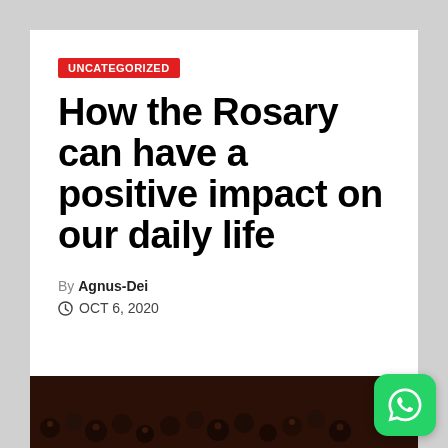UNCATEGORIZED
How the Rosary can have a positive impact on our daily life
By Agnus-Dei
OCT 6, 2020
[Figure (photo): Close-up of dark rosary beads on a wooden surface]